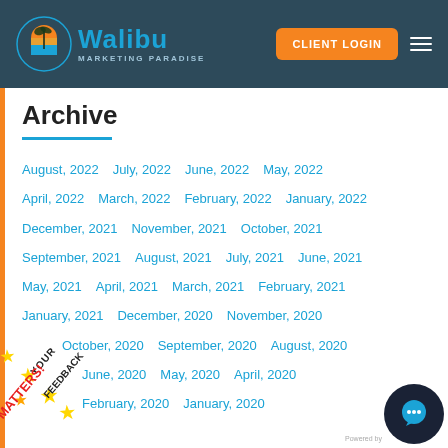Walibu Marketing Paradise — CLIENT LOGIN
Archive
August, 2022
July, 2022
June, 2022
May, 2022
April, 2022
March, 2022
February, 2022
January, 2022
December, 2021
November, 2021
October, 2021
September, 2021
August, 2021
July, 2021
June, 2021
May, 2021
April, 2021
March, 2021
February, 2021
January, 2021
December, 2020
November, 2020
October, 2020
September, 2020
August, 2020
July, 2020
June, 2020
May, 2020
April, 2020
March, 2020
February, 2020
January, 2020
[Figure (illustration): YOUR FEEDBACK MATTERS! sticker with gold stars, rotated diagonally in lower left corner]
[Figure (illustration): Chat bubble icon in lower right corner]